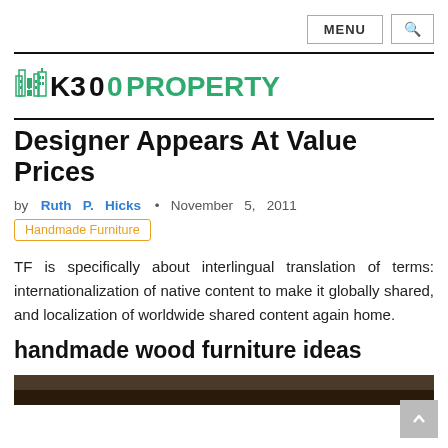MENU  [search icon]
[Figure (logo): K300PROPERTY logo with building icon, green and black text, horizontal rules above and below]
Designer Appears At Value Prices
by Ruth P. Hicks • November 5, 2011
Handmade Furniture
TF is specifically about interlingual translation of terms: internationalization of native content to make it globally shared, and localization of worldwide shared content again home.
handmade wood furniture ideas
[Figure (photo): Bottom partial image of handmade wood furniture]